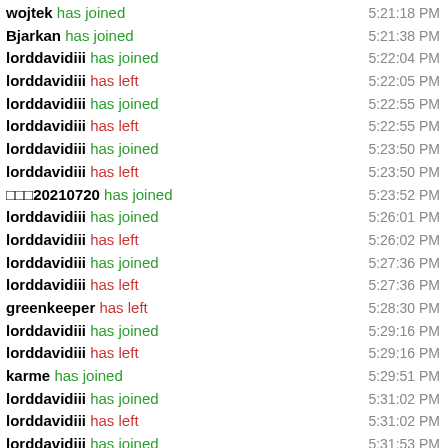wojtek has joined 5:21:18 PM
Bjarkan has joined 5:21:38 PM
lorddavidiii has joined 5:22:04 PM
lorddavidiii has left 5:22:05 PM
lorddavidiii has joined 5:22:55 PM
lorddavidiii has left 5:22:55 PM
lorddavidiii has joined 5:23:50 PM
lorddavidiii has left 5:23:50 PM
□□□20210720 has joined 5:23:52 PM
lorddavidiii has joined 5:26:01 PM
lorddavidiii has left 5:26:02 PM
lorddavidiii has joined 5:27:36 PM
lorddavidiii has left 5:27:36 PM
greenkeeper has left 5:28:30 PM
lorddavidiii has joined 5:29:16 PM
lorddavidiii has left 5:29:16 PM
karme has joined 5:29:51 PM
lorddavidiii has joined 5:31:02 PM
lorddavidiii has left 5:31:02 PM
lorddavidiii has joined 5:31:53 PM
lorddavidiii has left 5:31:54 PM
greenkeeper has joined 5:32:20 PM
lorddavidiii has joined 5:33:36 PM
lorddavidiii has left 5:33:37 PM
jl4 has left 5:34:24 PM
croccccnde has left (partial)